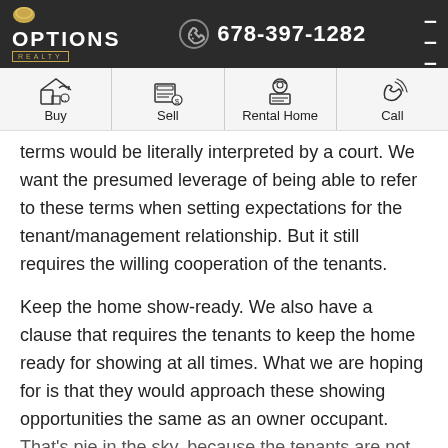Options Realty | 678-397-1282
[Figure (infographic): Navigation bar with four icon buttons: Buy, Sell, Rental Home, Call]
terms would be literally interpreted by a court. We want the presumed leverage of being able to refer to these terms when setting expectations for the tenant/management relationship. But it still requires the willing cooperation of the tenants.

Keep the home show-ready. We also have a clause that requires the tenants to keep the home ready for showing at all times. What we are hoping for is that they would approach these showing opportunities the same as an owner occupant. That's pie in the sky, because the tenants are not...